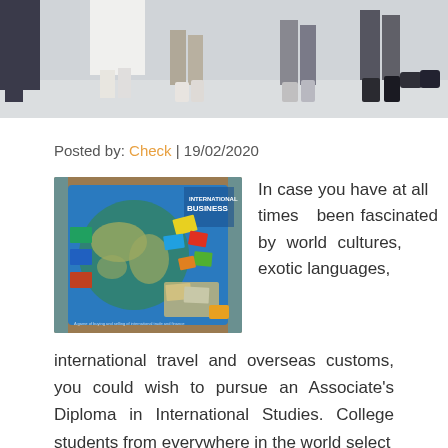[Figure (photo): Cropped photo showing legs and feet of many people walking on a light-colored surface, viewed from mid-thigh down.]
Posted by: Check | 19/02/2020
[Figure (photo): Photo of an International Business board game box showing a colorful globe with cards and game pieces scattered around it.]
In case you have at all times been fascinated by world cultures, exotic languages, international travel and overseas customs, you could wish to pursue an Associate's Diploma in International Studies. College students from everywhere in the world select